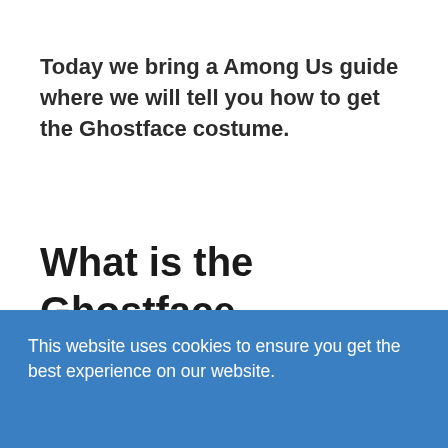Today we bring a Among Us guide where we will tell you how to get the Ghostface costume.
What is the Ghostface costume in Among Us?
This is an outfit that is related to the movie
This website uses cookies to ensure you get the best experience on our website.